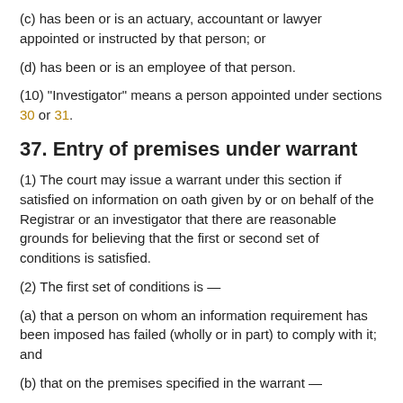(c) has been or is an actuary, accountant or lawyer appointed or instructed by that person; or
(d) has been or is an employee of that person.
(10) "Investigator" means a person appointed under sections 30 or 31.
37. Entry of premises under warrant
(1) The court may issue a warrant under this section if satisfied on information on oath given by or on behalf of the Registrar or an investigator that there are reasonable grounds for believing that the first or second set of conditions is satisfied.
(2) The first set of conditions is —
(a) that a person on whom an information requirement has been imposed has failed (wholly or in part) to comply with it; and
(b) that on the premises specified in the warrant —